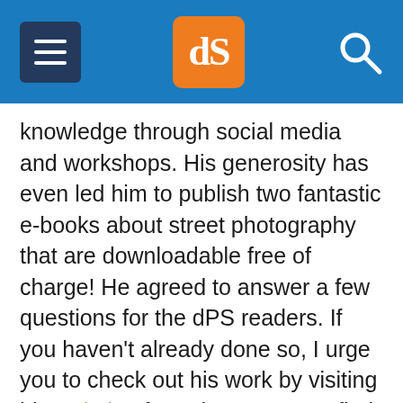dPS [logo] navigation header
knowledge through social media and workshops. His generosity has even led him to publish two fantastic e-books about street photography that are downloadable free of charge! He agreed to answer a few questions for the dPS readers. If you haven't already done so, I urge you to check out his work by visiting his website  from there you can find all the links to Thomas' social media world.
Thomas is also running a photography contest